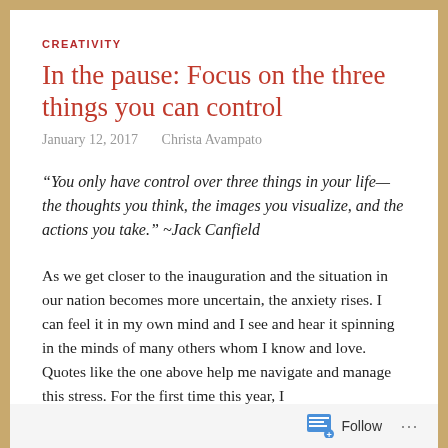CREATIVITY
In the pause: Focus on the three things you can control
January 12, 2017    Christa Avampato
“You only have control over three things in your life—the thoughts you think, the images you visualize, and the actions you take.” ~Jack Canfield
As we get closer to the inauguration and the situation in our nation becomes more uncertain, the anxiety rises. I can feel it in my own mind and I see and hear it spinning in the minds of many others whom I know and love. Quotes like the one above help me navigate and manage this stress. For the first time this year, I